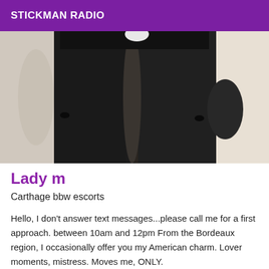STICKMAN RADIO
[Figure (photo): Black and white photo of a person from the waist down wearing dark tight pants/leggings, standing against a light background]
Lady m
Carthage bbw escorts
Hello, I don't answer text messages...please call me for a first approach. between 10am and 12pm From the Bordeaux region, I occasionally offer you my American charm. Lover moments, mistress. Moves me, ONLY.